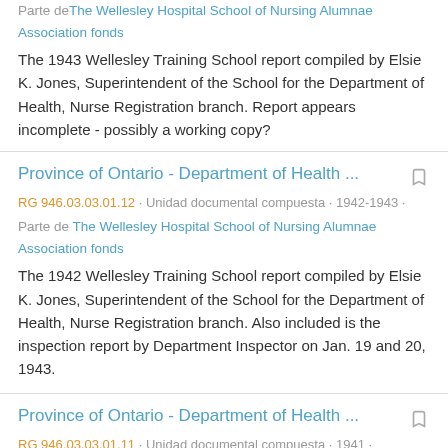Parte de The Wellesley Hospital School of Nursing Alumnae Association fonds
The 1943 Wellesley Training School report compiled by Elsie K. Jones, Superintendent of the School for the Department of Health, Nurse Registration branch. Report appears incomplete - possibly a working copy?
Province of Ontario - Department of Health ...
RG 946.03.03.01.12 · Unidad documental compuesta · 1942-1943 ·
Parte de The Wellesley Hospital School of Nursing Alumnae Association fonds
The 1942 Wellesley Training School report compiled by Elsie K. Jones, Superintendent of the School for the Department of Health, Nurse Registration branch. Also included is the inspection report by Department Inspector on Jan. 19 and 20, 1943.
Province of Ontario - Department of Health ...
RG 946.03.03.01.11 · Unidad documental compuesta · 1941 ·
Parte de The Wellesley Hospital School of Nursing Alumnae Association fonds
The 1941 Wellesley Training School report compiled by Elsie K.